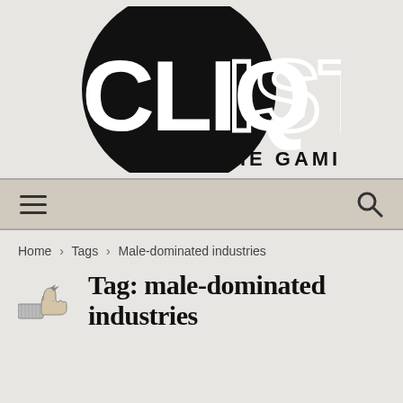[Figure (logo): Cliqist Indie Gaming logo: black circle with CLIQIST text, white for CLIQ and outlined for IST, with INDIE GAMING tagline below]
[Figure (other): Navigation bar with hamburger menu icon on the left and search magnifying glass icon on the right, beige/tan background]
Home › Tags › Male-dominated industries
Tag: male-dominated industries